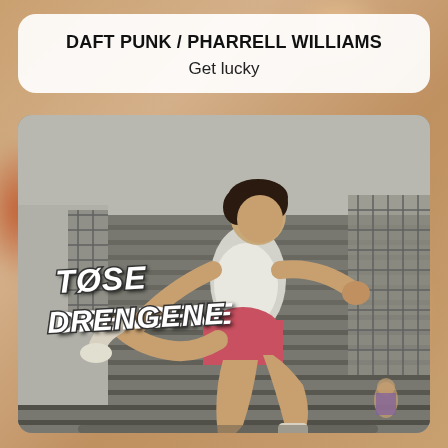DAFT PUNK / PHARRELL WILLIAMS
Get lucky
[Figure (photo): Album cover for 'Tøse Drengene' showing a black and white photo of a person running/hurdling in athletic wear (white t-shirt, pink/red shorts, white socks), with a stadium fence and bleachers in the background. The text 'TØSE DRENGENE' appears in white bold lettering on the left side of the image.]